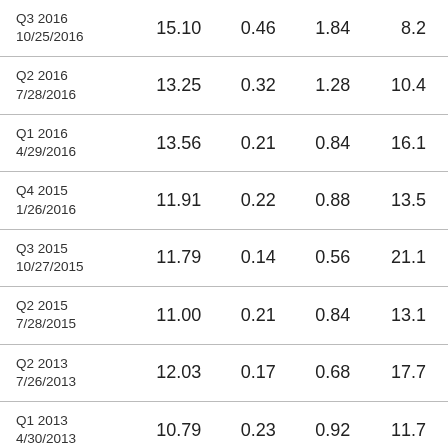| Q3 2016
10/25/2016 | 15.10 | 0.46 | 1.84 | 8.2 |
| Q2 2016
7/28/2016 | 13.25 | 0.32 | 1.28 | 10.4 |
| Q1 2016
4/29/2016 | 13.56 | 0.21 | 0.84 | 16.1 |
| Q4 2015
1/26/2016 | 11.91 | 0.22 | 0.88 | 13.5 |
| Q3 2015
10/27/2015 | 11.79 | 0.14 | 0.56 | 21.1 |
| Q2 2015
7/28/2015 | 11.00 | 0.21 | 0.84 | 13.1 |
| Q2 2013
7/26/2013 | 12.03 | 0.17 | 0.68 | 17.7 |
| Q1 2013
4/30/2013 | 10.79 | 0.23 | 0.92 | 11.7 |
| Q4 2012
7/24/2012 | 10.24 | 0.15 | 0.60 | 17.1 |